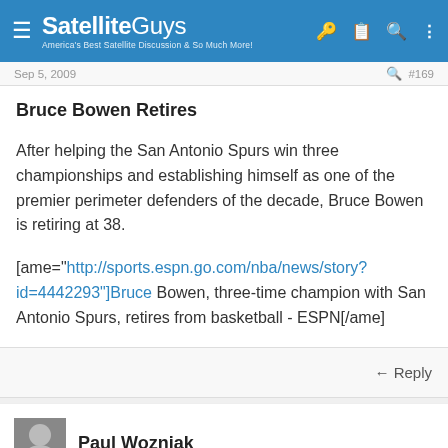SatelliteGuys - America's Best Satellite Discussion & So Much More!
Sep 5, 2009  #169
Bruce Bowen Retires
After helping the San Antonio Spurs win three championships and establishing himself as one of the premier perimeter defenders of the decade, Bruce Bowen is retiring at 38.
[ame="http://sports.espn.go.com/nba/news/story?id=4442293"]Bruce Bowen, three-time champion with San Antonio Spurs, retires from basketball - ESPN[/ame]
Reply
Paul Wozniak